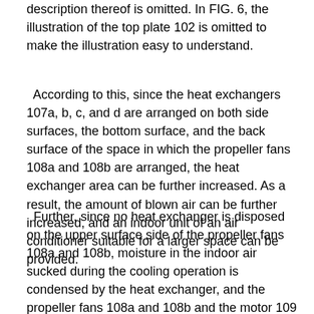description thereof is omitted. In FIG. 6, the illustration of the top plate 102 is omitted to make the illustration easy to understand.
According to this, since the heat exchangers 107a, b, c, and d are arranged on both side surfaces, the bottom surface, and the back surface of the space in which the propeller fans 108a and 108b are arranged, the heat exchanger area can be further increased. As a result, the amount of blown air can be further increased, and an indoor unit of an air conditioner suitable for a larger space can be provided.
Further, since no heat exchanger is disposed on the upper surface side of the propeller fans 108a and 108b, moisture in the indoor air sucked during the cooling operation is condensed by the heat exchanger, and the propeller fans 108a and 108b and the motor 109 are collected. Can be avoided, and failure of the motor 109 and the like due to condensed water can be prevented. In general, indoor units are not supposed to be placed in an environment exposed to rain like outdoor units, so the motor 109 or the like is often not waterproofed, and there is a risk of malfunction if water enters the motor or the like. Therefore, the indoor